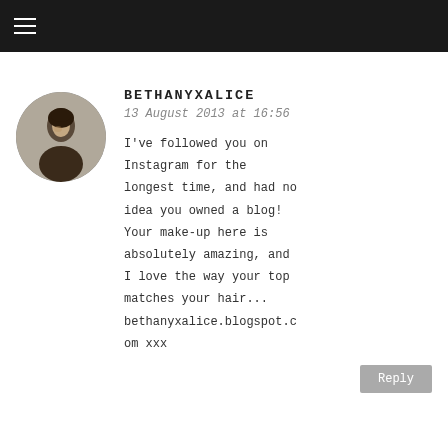BETHANYXALICE
13 August 2013 at 16:56
I've followed you on Instagram for the longest time, and had no idea you owned a blog! Your make-up here is absolutely amazing, and I love the way your top matches your hair... bethanyxalice.blogspot.com xxx